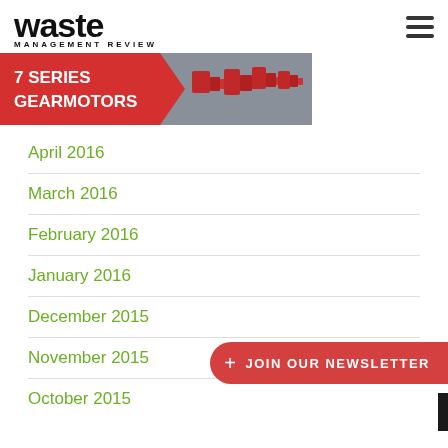waste MANAGEMENT REVIEW
[Figure (illustration): Advertisement banner for 7 Series Gearmotors showing red industrial gearmotor units on a gray background with a red chevron/arrow design on the left side with white text]
April 2016
March 2016
February 2016
January 2016
December 2015
November 2015
October 2015